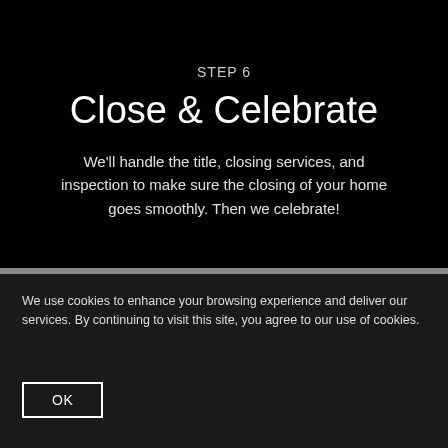STEP 6
Close & Celebrate
We'll handle the title, closing services, and inspection to make sure the closing of your home goes smoothly. Then we celebrate!
We use cookies to enhance your browsing experience and deliver our services. By continuing to visit this site, you agree to our use of cookies.
OK